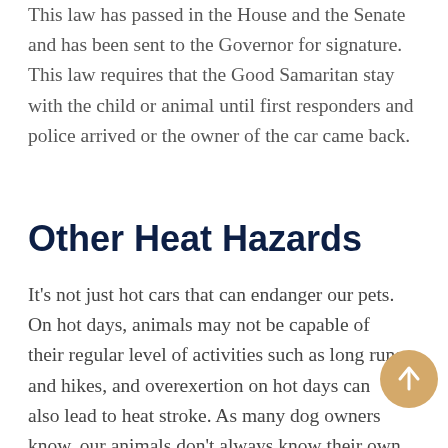This law has passed in the House and the Senate and has been sent to the Governor for signature. This law requires that the Good Samaritan stay with the child or animal until first responders and police arrived or the owner of the car came back.
Other Heat Hazards
It's not just hot cars that can endanger our pets. On hot days, animals may not be capable of their regular level of activities such as long runs and hikes, and overexertion on hot days can also lead to heat stroke. As many dog owners know, our animals don't always know their own limits so it's up to
[Figure (other): Circular tan/beige button with upward-pointing arrow icon for scrolling to top]